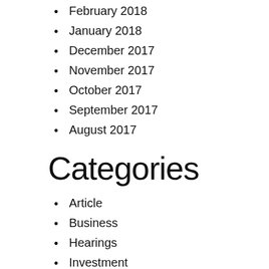February 2018
January 2018
December 2017
November 2017
October 2017
September 2017
August 2017
Categories
Article
Business
Hearings
Investment
Law
Lawsuit
Metro
News